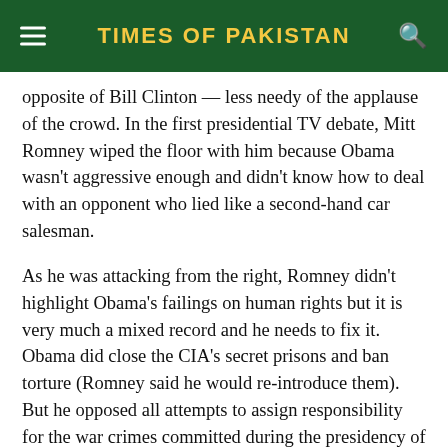TIMES OF PAKISTAN
opposite of Bill Clinton — less needy of the applause of the crowd. In the first presidential TV debate, Mitt Romney wiped the floor with him because Obama wasn't aggressive enough and didn't know how to deal with an opponent who lied like a second-hand car salesman.
As he was attacking from the right, Romney didn't highlight Obama's failings on human rights but it is very much a mixed record and he needs to fix it. Obama did close the CIA's secret prisons and ban torture (Romney said he would re-introduce them). But he opposed all attempts to assign responsibility for the war crimes committed during the presidency of George W. Bush. He didn't even support the idea of a public commission to investigate. He has not allowed his use of drones in Pakistan, Afghanistan and Yemen to be subject to judicial review.